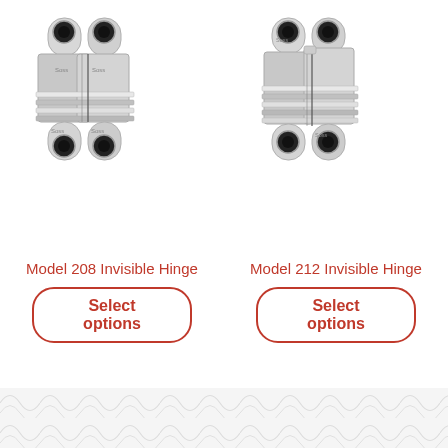[Figure (photo): Model 208 Invisible Hinge - chrome/silver colored invisible hinge with H-shape form, showing two leaf plates connected by a barrel mechanism with multiple chrome fins, screw holes visible on each leaf]
[Figure (photo): Model 212 Invisible Hinge - chrome/silver colored invisible hinge with H-shape form, similar to Model 208 but slightly different proportions, showing two leaf plates connected by a barrel mechanism with multiple chrome fins, screw holes visible on each leaf]
Model 208 Invisible Hinge
Model 212 Invisible Hinge
Select options
Select options
[Figure (illustration): Decorative wave pattern footer in light grey/white]